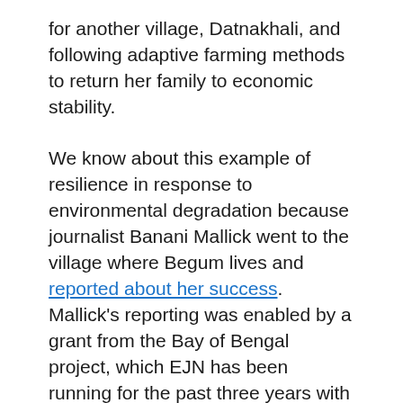for another village, Datnakhali, and following adaptive farming methods to return her family to economic stability.
We know about this example of resilience in response to environmental degradation because journalist Banani Mallick went to the village where Begum lives and reported about her success. Mallick's reporting was enabled by a grant from the Bay of Bengal project, which EJN has been running for the past three years with support from the Climate Justice Resilience Fund.
In much of the Bay of Bengal region, climate change, overdevelopment and poor law enforcement have made it difficult for people to continue their traditional ways of living. Rising sea levels have infused land and water along the coast with so much salt that farmers can no longer grow the region's